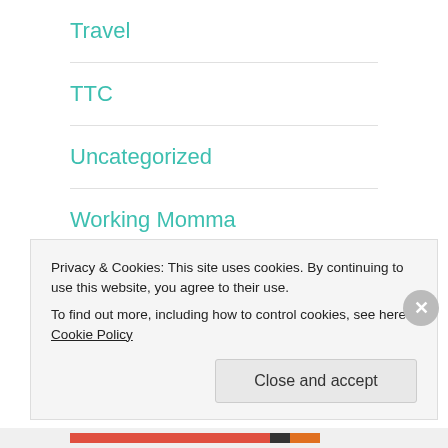Travel
TTC
Uncategorized
Working Momma
MRPREGGER'S TWITTER FEED
Abby...I told him it was ok to fall asleep on me
Privacy & Cookies: This site uses cookies. By continuing to use this website, you agree to their use.
To find out more, including how to control cookies, see here: Cookie Policy
Close and accept